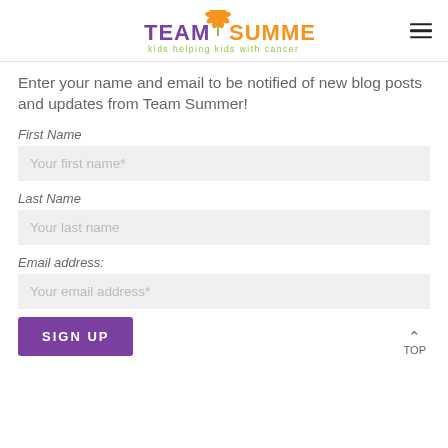[Figure (logo): Team Summer logo with orange flower, purple TEAM text, orange SUMMER text, and green tagline 'kids helping kids with cancer']
Enter your name and email to be notified of new blog posts and updates from Team Summer!
First Name
Your first name*
Last Name
Your last name
Email address:
Your email address*
SIGN UP